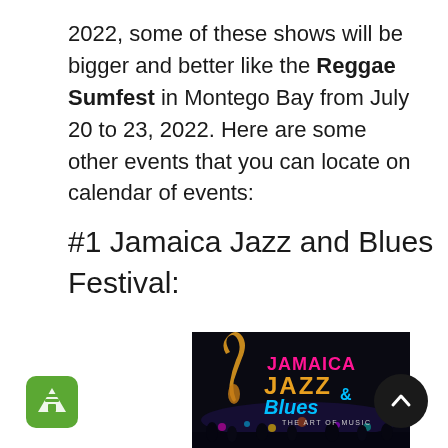2022, some of these shows will be bigger and better like the Reggae Sumfest in Montego Bay from July 20 to 23, 2022. Here are some other events that you can locate on calendar of events:
#1 Jamaica Jazz and Blues Festival:
[Figure (illustration): Jamaica Jazz and Blues Festival logo on a dark background showing festival text in colorful letters with 'THE ART OF MUSIC' tagline, nighttime concert scene below]